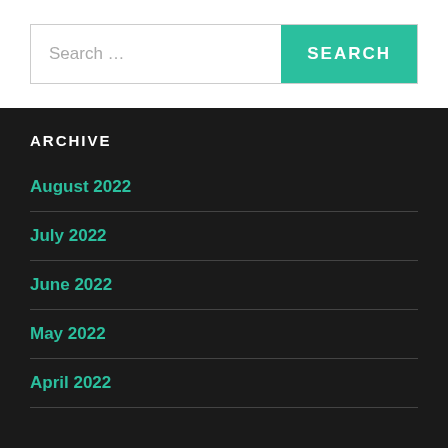Search …
ARCHIVE
August 2022
July 2022
June 2022
May 2022
April 2022